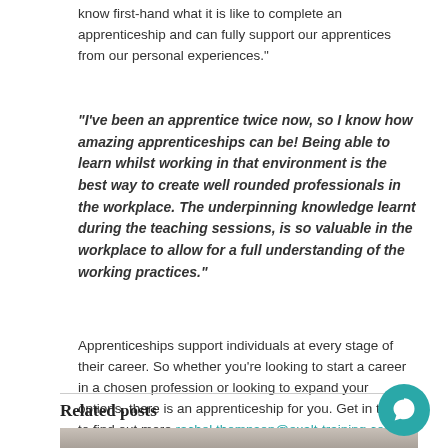know first-hand what it is like to complete an apprenticeship and can fully support our apprentices from our personal experiences."
“I’ve been an apprentice twice now, so I know how amazing apprenticeships can be! Being able to learn whilst working in that environment is the best way to create well rounded professionals in the workplace. The underpinning knowledge learnt during the teaching sessions, is so valuable in the workplace to allow for a full understanding of the working practices.”
Apprenticeships support individuals at every stage of their career. So whether you’re looking to start a career in a chosen profession or looking to expand your options, there is an apprenticeship for you. Get in touch to find out more rachel.thompson@exalt-training.com
Related posts
[Figure (photo): Partial image strip showing a stone/cobblestone surface with a hand visible at the right edge]